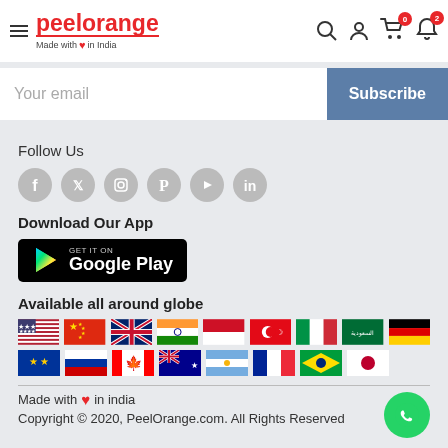[Figure (logo): PeelOrange logo with hamburger menu and header icons (search, account, cart with 0 badge, bell with 2 badge)]
Your email
Subscribe
Follow Us
[Figure (other): Six social media icons: Facebook, Twitter, Instagram, Pinterest, YouTube, LinkedIn]
Download Our App
[Figure (other): GET IT ON Google Play button]
Available all around globe
[Figure (other): Country flags: USA, China, UK, India, Indonesia, Turkey, Italy, Saudi Arabia, Germany, EU, Russia, Canada, Australia, Argentina, France, Brazil, Japan]
Made with ❤ in india
Copyright © 2020, PeelOrange.com. All Rights Reserved